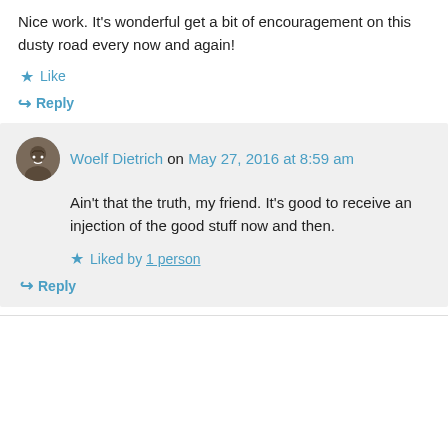Nice work. It's wonderful get a bit of encouragement on this dusty road every now and again!
★ Like
↳ Reply
Woelf Dietrich on May 27, 2016 at 8:59 am
Ain't that the truth, my friend. It's good to receive an injection of the good stuff now and then.
★ Liked by 1 person
↳ Reply